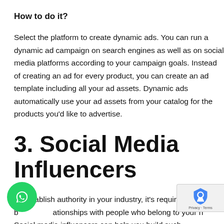How to do it?
Select the platform to create dynamic ads. You can run a dynamic ad campaign on search engines as well as on social media platforms according to your campaign goals. Instead of creating an ad for every product, you can create an ad template including all your ad assets. Dynamic ads automatically use your ad assets from your catalog for the products you'd like to advertise.
3. Social Media Influencers
To establish authority in your industry, it's required to build relationships with people who belong to your niche. Social media influencers can help you build such